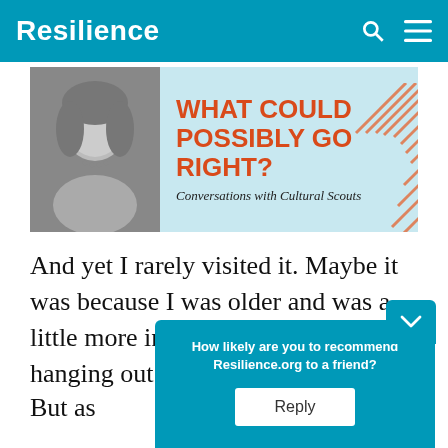Resilience
[Figure (illustration): Banner for 'What Could Possibly Go Right? Conversations with Cultural Scouts' podcast, featuring a black-and-white photo of a woman and orange decorative lines on a light blue background.]
And yet I rarely visited it. Maybe it was because I was older and was a little more into sports, biking and hanging out with friends.
But as
How likely are you to recommend Resilience.org to a friend?
Reply